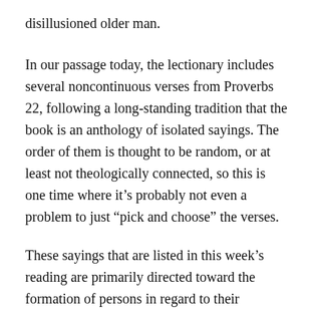disillusioned older man.
In our passage today, the lectionary includes several noncontinuous verses from Proverbs 22, following a long-standing tradition that the book is an anthology of isolated sayings. The order of them is thought to be random, or at least not theologically connected, so this is one time where it’s probably not even a problem to just “pick and choose” the verses.
These sayings that are listed in this week’s reading are primarily directed toward the formation of persons in regard to their participation in the larger society, especially those who will have considerable influence in public life. In other words, character formation tends to focus on the individual and whether he or she is a “good person” or a “bad person”. This genre of literature is